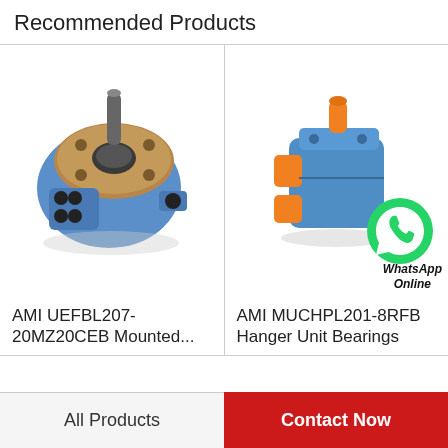Recommended Products
[Figure (photo): AMI UEFBL207-20MZ20CEB mounted unit bearing, blue housing with metal flange plate and shaft]
AMI UEFBL207-20MZ20CEB Mounted...
[Figure (photo): AMI MUCHPL201-8RFB Hanger Unit Bearing, blue body with orange fittings/covers and WhatsApp Online overlay badge]
AMI MUCHPL201-8RFB Hanger Unit Bearings
All Products
Contact Now